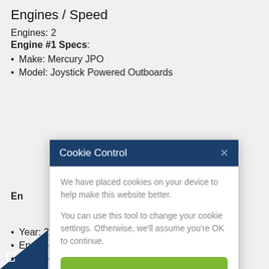Engines / Speed
Engines: 2
Engine #1 Specs:
Make: Mercury JPO
Model: Joystick Powered Outboards
[Figure (screenshot): Cookie Control modal dialog with dark blue header, white body containing cookie consent text, green 'I'm fine with this' button, and links to 'Information and Settings' and 'About our cookies']
Propeller Type: 3-Blade, Stainless Steel (partially visible behind modal)
Engine #2 Specs (partially visible)
Year: 2022
Engine Hours: 1038
Engine Location: Starboard